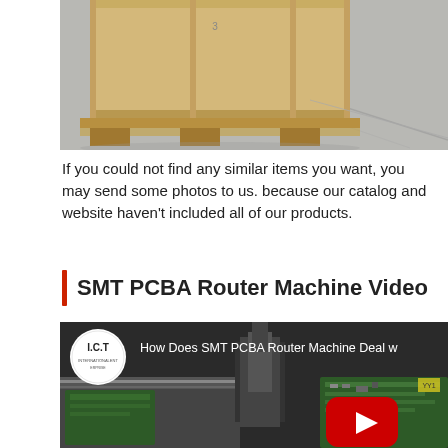[Figure (photo): Wooden crate/pallet on a concrete floor, partial view showing bottom corner of crate]
If you could not find any similar items you want, you may send some photos to us. because our catalog and website haven't included all of our products.
SMT PCBA Router Machine Video
[Figure (screenshot): YouTube video thumbnail showing SMT PCBA Router Machine with ICT logo, title 'How Does SMT PCBA Router Machine Deal w...' and red YouTube play button overlay]